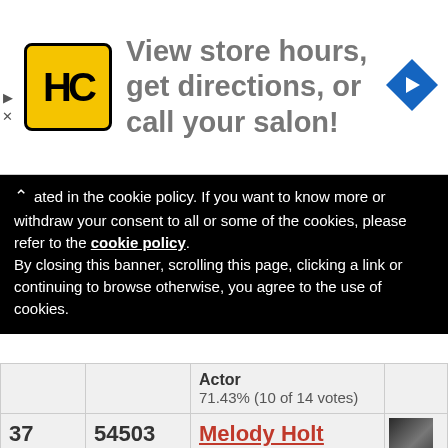[Figure (other): Advertisement banner: HC logo (yellow circle with black border), text 'View store hours, get directions, or call your salon!', blue diamond navigation arrow icon]
ated in the cookie policy. If you want to know more or withdraw your consent to all or some of the cookies, please refer to the cookie policy. By closing this banner, scrolling this page, clicking a link or continuing to browse otherwise, you agree to the use of cookies.
|  |  | Name/Role | Photo |
| --- | --- | --- | --- |
|  |  | Actor
71.43% (10 of 14 votes) |  |
| 37 | 54503 | Melody Holt
Socialite
85.71% (6 of 7 votes) | [photo] |